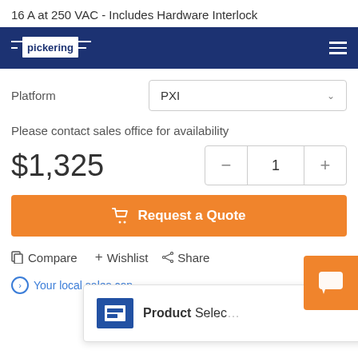16 A at 250 VAC - Includes Hardware Interlock
[Figure (screenshot): Pickering Electronics navigation bar with logo and hamburger menu on dark blue background]
Platform
PXI
Please contact sales office for availability
$1,325
1
Request a Quote
Compare
+ Wishlist
Share
Your local sales con
Product Selec